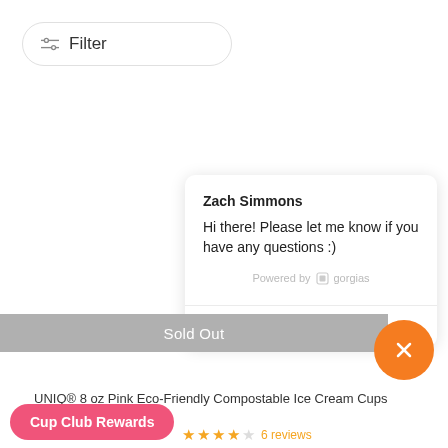[Figure (screenshot): Filter button with sliders icon and 'Filter' text, rounded pill-shaped border]
Zach Simmons
Hi there! Please let me know if you have any questions :)
Powered by gorgias
Click to reply
Sold Out
UNIQ® 8 oz Pink Eco-Friendly Compostable Ice Cream Cups
Cup Club Rewards
6 reviews